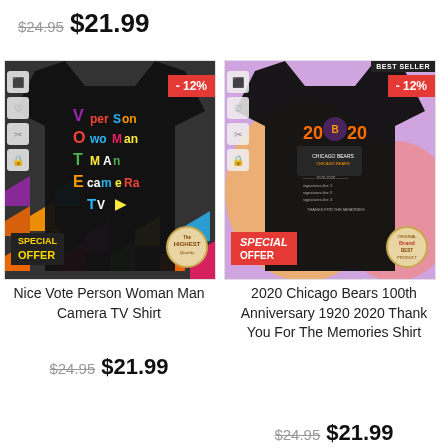$24.95  $21.99
[Figure (photo): Black t-shirt with colorful VOTE Person Woman Man Camera TV text design on a colorful hexagon background. Shows -12% discount badge, Special Offer badge, and Highest Quality seal.]
Nice Vote Person Woman Man Camera TV Shirt
$24.95  $21.99
[Figure (photo): Black t-shirt with 2020 Chicago Bears 100th Anniversary design on colorful background. Shows -12% discount badge, Special Offer badge, and quality seal.]
2020 Chicago Bears 100th Anniversary 1920 2020 Thank You For The Memories Shirt
$24.95  $21.99